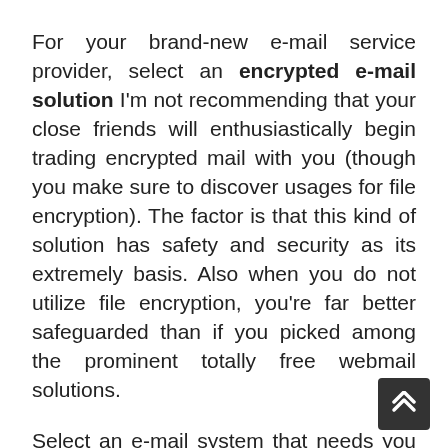For your brand-new e-mail service provider, select an encrypted e-mail solution I'm not recommending that your close friends will enthusiastically begin trading encrypted mail with you (though you make sure to discover usages for file encryption). The factor is that this kind of solution has safety and security as its extremely basis. Also when you do not utilize file encryption, you're far better safeguarded than if you picked among the prominent totally free webmail solutions.
Select an e-mail system that needs you to produce a brand-new address, like ProtonMail or Tutanota, instead of one that secures your existing account. Select a username that's not your real name, yet that will not be also tough for your close friends to keep in mind. OtakuRedhead? BigGeocachingRat? No demand to make it very easy for your individual